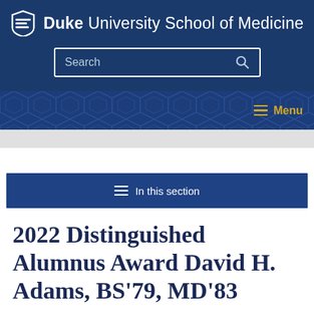Duke University School of Medicine
[Figure (screenshot): Search bar input field with magnifying glass icon, outlined in white on dark blue background]
[Figure (screenshot): Navigation menu band with geometric pattern and Menu button in gold]
[Figure (screenshot): In this section navigation button on dark blue background]
2022 Distinguished Alumnus Award David H. Adams, BS’79, MD’83